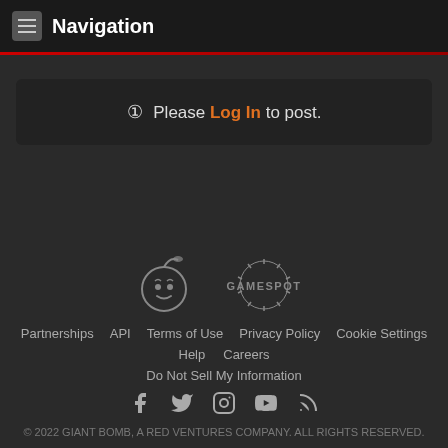Navigation
Please Log In to post.
[Figure (logo): Giant Bomb and GameSpot logos]
Partnerships  API  Terms of Use  Privacy Policy  Cookie Settings  Help  Careers  Do Not Sell My Information  © 2022 GIANT BOMB, A RED VENTURES COMPANY. ALL RIGHTS RESERVED.